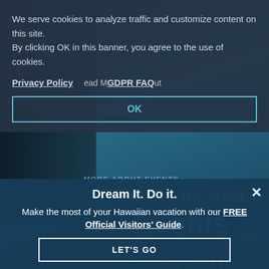[Figure (screenshot): Website screenshot showing a Hawaiian tourism page with dark night/dusk background of palm trees with lights, overlaid by a cookie consent banner and a promotional popup.]
We serve cookies to analyze traffic and customize content on this site. By clicking OK in this banner, you agree to the use of cookies.
Privacy Policy   GDPR FAQ
OK
Festivals and Events
BACK TO
MORE ABOUT EVENTS >
Dream It. Do it.
Make the most of your Hawaiian vacation with our FREE Official Visitors' Guide.
LET'S GO